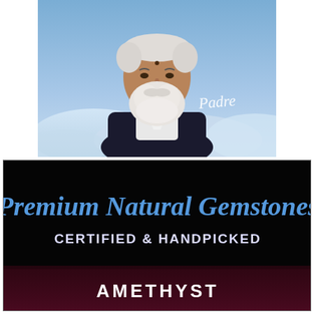[Figure (illustration): Portrait of an elderly bearded man with white hair and beard, wearing a dark vest over a white shirt, set against a blue sky background with clouds. The word 'Padre' is written in white script on the right side of the image.]
[Figure (other): Black background advertisement banner with blue script text reading 'Premium Natural Gemstones', below it white text 'CERTIFIED & HANDPICKED', and at the bottom white text 'AMETHYST' in a dark reddish-purple lower section.]